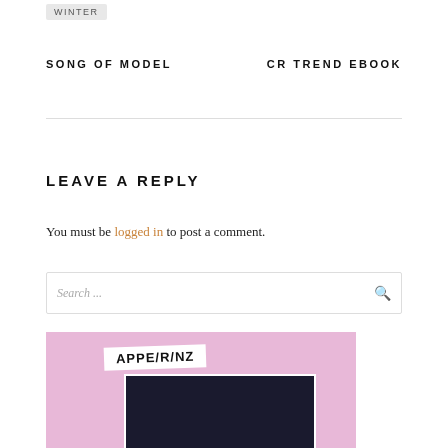WINTER
SONG OF MODEL
CR TREND EBOOK
LEAVE A REPLY
You must be logged in to post a comment.
Search ...
[Figure (photo): Pink textured background with a white label reading APPE/R/NZ and a dark inner photograph below it]